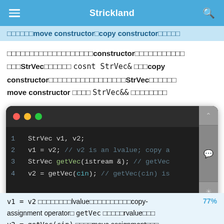Strickland
□□□□□□move constructor□copy constructor□□□□□
□□□□□□□□□□□□□□□□□□□constructor□□□□□□□□□□□□□StrVec□□□□□□ cosnt StrVec& □□□copy constructor□□□□□□□□□□□□□□□□□StrVec□□□□□□move constructor □□□□ StrVec&& □□□□□□□□
[Figure (screenshot): Dark-themed code editor showing 4 lines: 1 StrVec v1, v2; 2 v1 = v2; // v2 is an lvalue; copy a 3 StrVec getVec(istream &); // getVec 4 v2 = getVec(cin); // getVec(cin) is]
v1 = v2 □□□□□□□□lvalue□□□□□□□□□□copy-assignment operator□ getVec □□□□□rvalue□□□ v2 = getVec(cin) □□□□move assignment□□□